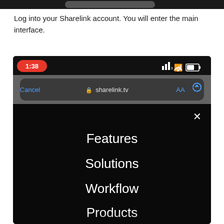[Figure (screenshot): Top portion of a mobile phone screenshot showing a dark interface, partially cropped at the top.]
Log into your Sharelink account. You will enter the main interface.
[Figure (screenshot): Mobile browser screenshot showing sharelink.tv with a navigation menu open displaying: Features, Solutions, Workflow, Products. The browser bar shows Cancel, sharelink.tv, AA, and refresh. The status bar shows time 1:38 in red pill, signal bars, wifi, and battery icons. The menu is on a black background with an X close button.]